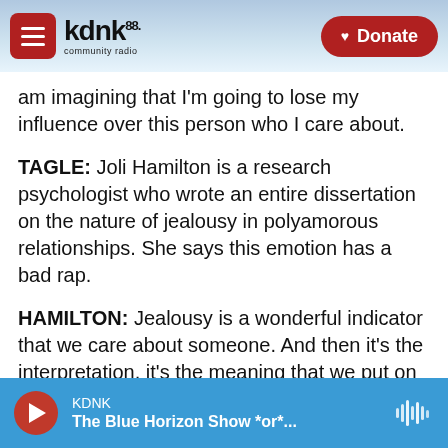KDNK 88 community radio | Donate
am imagining that I'm going to lose my influence over this person who I care about.
TAGLE: Joli Hamilton is a research psychologist who wrote an entire dissertation on the nature of jealousy in polyamorous relationships. She says this emotion has a bad rap.
HAMILTON: Jealousy is a wonderful indicator that we care about someone. And then it's the interpretation, it's the meaning that we put on it that really starts to give it its weight.
KDNK — The Blue Horizon Show *or*...